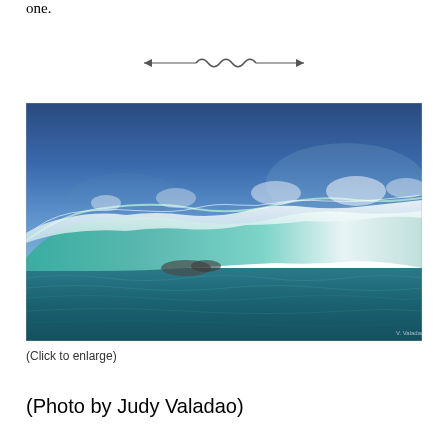one.
[Figure (illustration): Decorative wave/scroll divider ornament]
[Figure (photo): A large ocean wave breaking with white sea foam and spray against a deep blue sky background. Photo credit: V. Valadao]
(Click to enlarge)
(Photo by Judy Valadao)